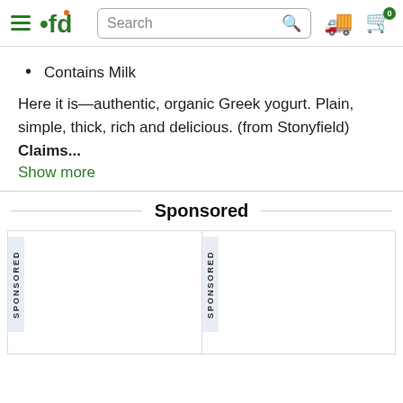fd — Search bar, delivery and cart icons
Contains Milk
Here it is—authentic, organic Greek yogurt. Plain, simple, thick, rich and delicious. (from Stonyfield)
Claims...
Show more
Sponsored
[Figure (screenshot): Two sponsored product card placeholders side by side, each with a vertical 'SPONSORED' tag label on the left side]